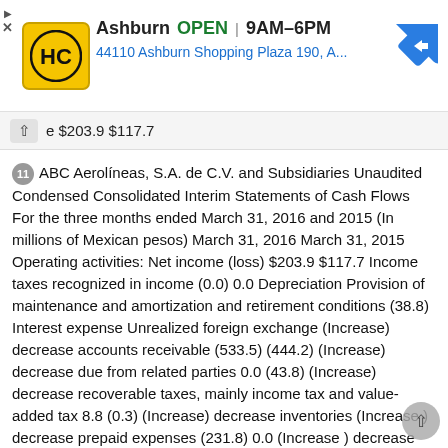[Figure (other): HC logo advertisement bar showing Ashburn location, OPEN 9AM-6PM, address 44110 Ashburn Shopping Plaza 190, A..., with navigation arrow icon]
e $203.9 $117.7
11 ABC Aerolíneas, S.A. de C.V. and Subsidiaries Unaudited Condensed Consolidated Interim Statements of Cash Flows For the three months ended March 31, 2016 and 2015 (In millions of Mexican pesos) March 31, 2016 March 31, 2015 Operating activities: Net income (loss) $203.9 $117.7 Income taxes recognized in income (0.0) 0.0 Depreciation Provision of maintenance and amortization and retirement conditions (38.8) Interest expense Unrealized foreign exchange (Increase) decrease accounts receivable (533.5) (444.2) (Increase) decrease due from related parties 0.0 (43.8) (Increase) decrease recoverable taxes, mainly income tax and value-added tax 8.8 (0.3) (Increase) decrease inventories (Increase ) decrease prepaid expenses (231.8) 0.0 (Increase ) decrease deposits on aircraft leases (50.2) 0.0 Increase (decrease) accounts payable Increase (decrease) other accounts